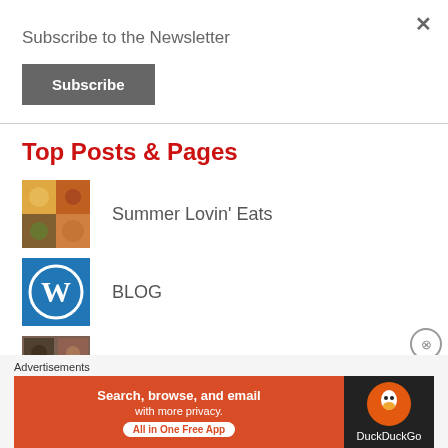×
Subscribe to the Newsletter
Subscribe
Top Posts & Pages
Summer Lovin' Eats
BLOG
Top 10 Dairy Free Snacks for Back to School
Advertisements
Search, browse, and email with more privacy. All in One Free App
DuckDuckGo